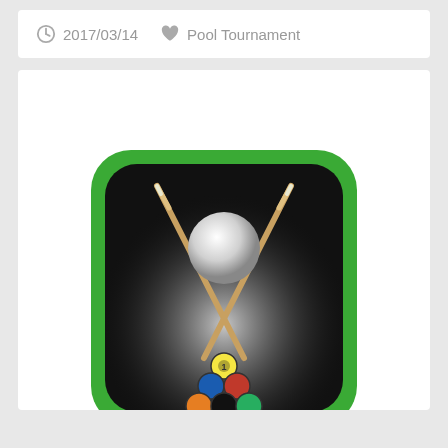2017/03/14   Pool Tournament
[Figure (illustration): Pool/billiards tournament app icon: a rounded rectangle with a green border and black interior, featuring two crossed billiard cues and a white cue ball, with a rack of balls at the bottom.]